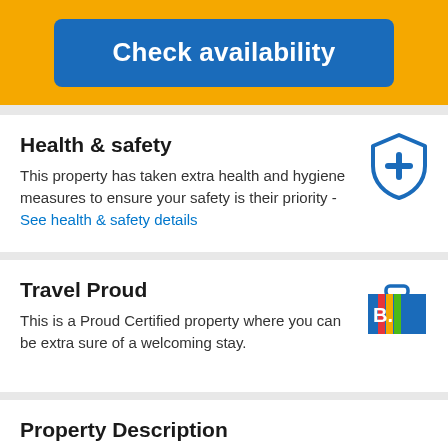[Figure (other): Yellow banner with blue 'Check availability' button]
Health & safety
This property has taken extra health and hygiene measures to ensure your safety is their priority - See health & safety details
[Figure (other): Blue shield with plus/cross icon representing health & safety]
Travel Proud
This is a Proud Certified property where you can be extra sure of a welcoming stay.
[Figure (logo): Booking.com Travel Proud suitcase logo with rainbow colors]
Property Description
Boasting a privileged location right in downtown Salvador, Wish Hotel da Bahia features comfortable and pet-friendly